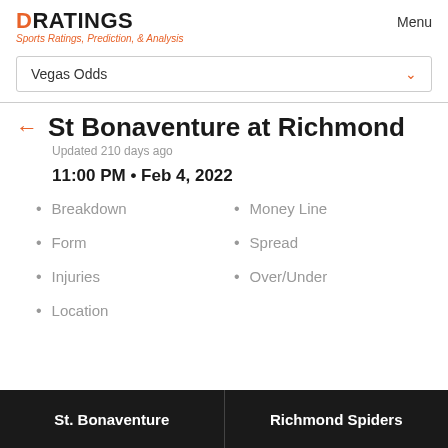DRATINGS — Sports Ratings, Prediction, & Analysis — Menu
Vegas Odds
St Bonaventure at Richmond
Updated 210 days ago
11:00 PM • Feb 4, 2022
Breakdown
Form
Injuries
Location
Money Line
Spread
Over/Under
St. Bonaventure
Richmond Spiders